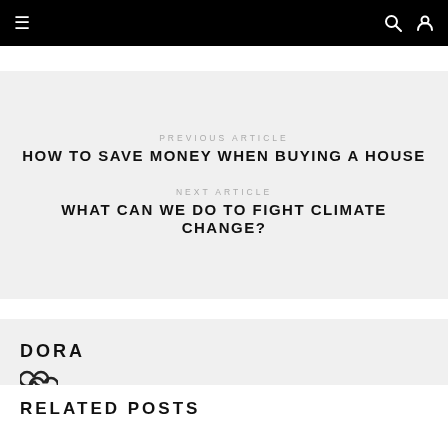≡  🔍 👤
PREVIOUS ARTICLE
HOW TO SAVE MONEY WHEN BUYING A HOUSE
NEXT ARTICLE
WHAT CAN WE DO TO FIGHT CLIMATE CHANGE?
DORA
RELATED POSTS